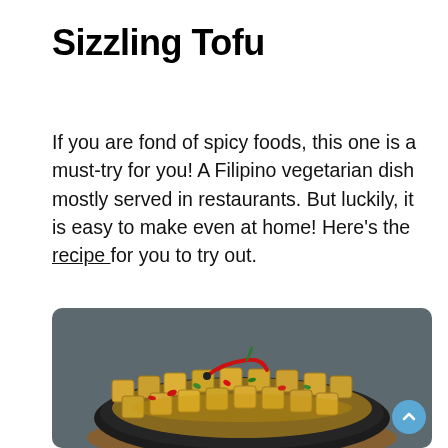Sizzling Tofu
If you are fond of spicy foods, this one is a must-try for you! A Filipino vegetarian dish mostly served in restaurants. But luckily, it is easy to make even at home! Here’s the recipe for you to try out.
[Figure (photo): A sizzling plate of Filipino tofu dish with cubed fried tofu, red chili peppers, green peppers, and a sauce, served in a black cast iron sizzling plate on a wooden base.]